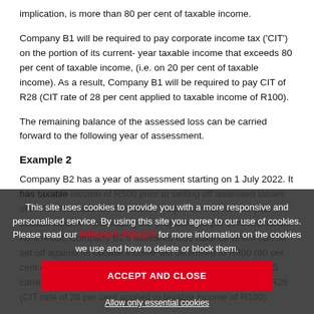implication, is more than 80 per cent of taxable income.
Company B1 will be required to pay corporate income tax ('CIT') on the portion of its current- year taxable income that exceeds 80 per cent of taxable income, (i.e. on 20 per cent of taxable income). As a result, Company B1 will be required to pay CIT of R28 (CIT rate of 28 per cent applied to taxable income of R100).
The remaining balance of the assessed loss can be carried forward to the following year of assessment.
Example 2
Company B2 has a year of assessment starting on 1 July 2022. It has taxable income of R500 prior to setting off assessed losses of R475. The balance constitutes 95 per cent of current-year taxable income – exceeding the proposed 80 per cent restriction. As a result, Company B2's assessed loss balance which can be set off against its taxable income will be limited to R400 (80 per cent of its taxable income), with the remaining balance of R75 carried forward to future years. Company B2 will pay CIT of R28 (CIT rate of 28 per cent applied to taxable income of R100).
This site uses cookies to provide you with a more responsive and personalised service. By using this site you agree to our use of cookies. Please read our PRIVACY POLICY for more information on the cookies we use and how to delete or block them.
ACCEPT AND CLOSE
Allow only essential cookies
Example 3